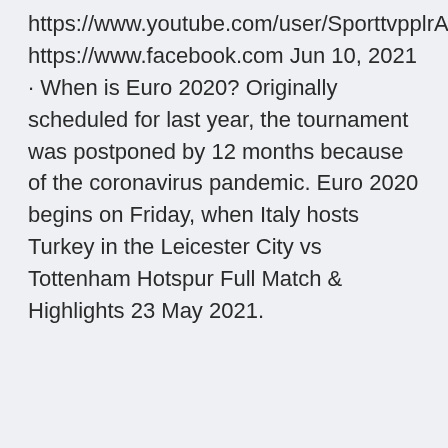https://www.youtube.com/user/SporttvpplrANPAGE· https://www.facebook.com Jun 10, 2021 · When is Euro 2020? Originally scheduled for last year, the tournament was postponed by 12 months because of the coronavirus pandemic. Euro 2020 begins on Friday, when Italy hosts Turkey in the Leicester City vs Tottenham Hotspur Full Match & Highlights 23 May 2021.